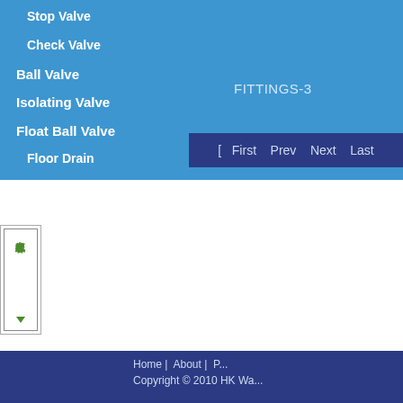Stop Valve
Check Valve
Ball Valve
Isolating Valve
Float Ball Valve
Floor Drain
FITTINGS-3
[ First  Prev  Next  Last
[Figure (illustration): Chinese online customer service chat widget with text 在线客服 and arrow]
Home | About | P...   Copyright © 2010 HK Wa...